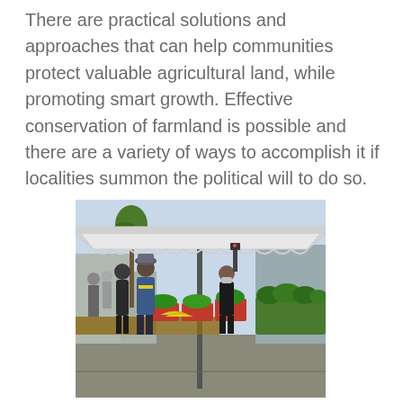There are practical solutions and approaches that can help communities protect valuable agricultural land, while promoting smart growth. Effective conservation of farmland is possible and there are a variety of ways to accomplish it if localities summon the political will to do so.
[Figure (photo): Outdoor farmers market scene showing people shopping at a produce stand under a white tent canopy. Vendors and customers wearing masks interact over crates of fresh vegetables including broccoli, greens, and other produce. Palm trees and city street visible in background.]